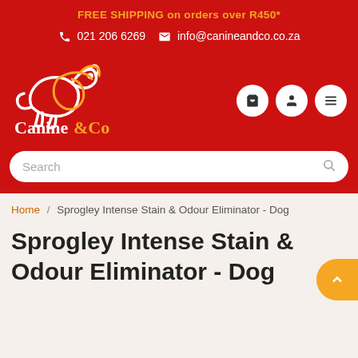FREE SHIPPING on orders over R450*
021 206 6269  info@canineandco.co.za
[Figure (logo): Canine & Co logo with white dog outline and orange dog silhouette, white text 'Canine' and orange '&Co']
Search
Home / Sprogley Intense Stain & Odour Eliminator - Dog
Sprogley Intense Stain & Odour Eliminator - Dog